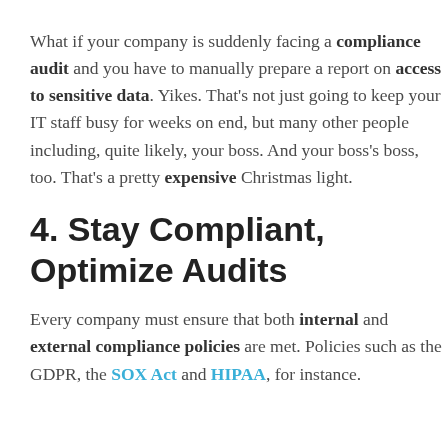What if your company is suddenly facing a compliance audit and you have to manually prepare a report on access to sensitive data. Yikes. That's not just going to keep your IT staff busy for weeks on end, but many other people including, quite likely, your boss. And your boss's boss, too. That's a pretty expensive Christmas light.
4. Stay Compliant, Optimize Audits
Every company must ensure that both internal and external compliance policies are met. Policies such as the GDPR, the SOX Act and HIPAA, for instance.